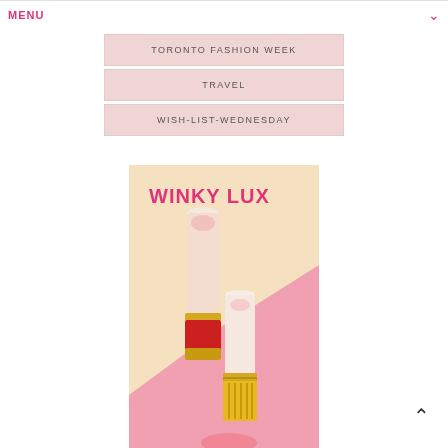MENU
TORONTO FASHION WEEK
TRAVEL
WISH-LIST-WEDNESDAY
[Figure (photo): Winky Lux branded product photo showing two lipsticks — one with a cream/white bullet and gold-and-red cap, another with a yellow-gold ribbed cap — against a peach and pink diagonal background with 'WINKY LUX' text in pink at the top.]